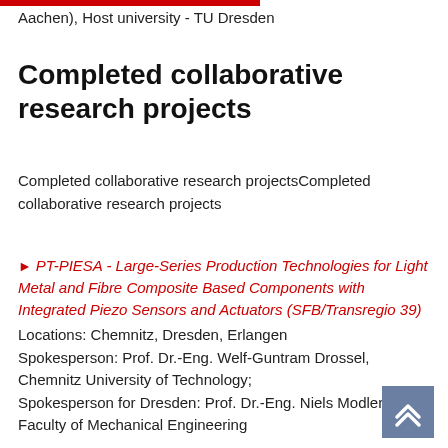Aachen), Host university - TU Dresden
Completed collaborative research projects
Completed collaborative research projectsCompleted collaborative research projects
PT-PIESA - Large-Series Production Technologies for Light Metal and Fibre Composite Based Components with Integrated Piezo Sensors and Actuators (SFB/Transregio 39)
Locations: Chemnitz, Dresden, Erlangen
Spokesperson: Prof. Dr.-Eng. Welf-Guntram Drossel, Chemnitz University of Technology;
Spokesperson for Dresden: Prof. Dr.-Eng. Niels Modler, Faculty of Mechanical Engineering